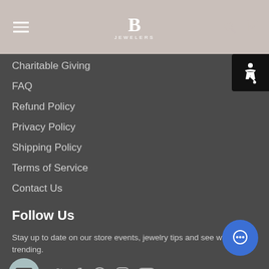B JEWELERS header with navigation icons
Charitable Giving
FAQ
Refund Policy
Privacy Policy
Shipping Policy
Terms of Service
Contact Us
Follow Us
Stay up to date on our store events, jewelry tips and see what's trending.
[Figure (infographic): Social media icons: email, Twitter, Facebook, Pinterest, Instagram, YouTube]